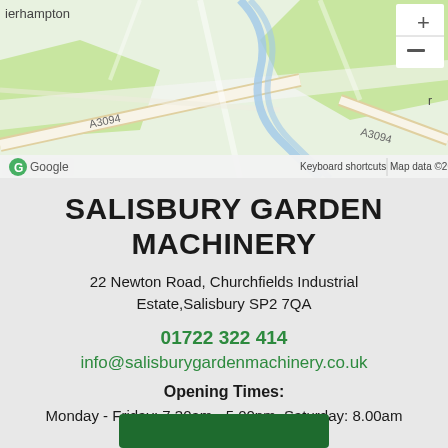[Figure (map): Google Maps screenshot showing area around Salisbury with A3094 road, The Salisbury Museum label, Google logo, zoom controls, and map attribution bar.]
SALISBURY GARDEN MACHINERY
22 Newton Road, Churchfields Industrial Estate,Salisbury SP2 7QA
01722 322 414
info@salisburygardenmachinery.co.uk
Opening Times:
Monday - Friday: 7.30am - 5.00pm, Saturday: 8.00am - 12.00pm